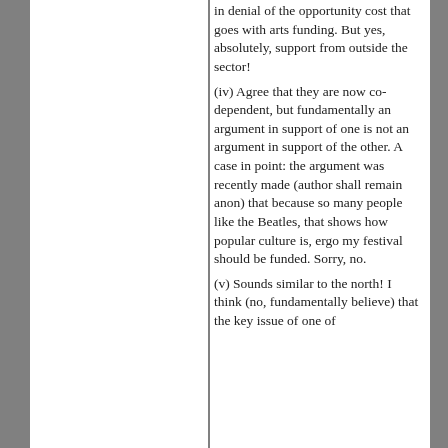in denial of the opportunity cost that goes with arts funding. But yes, absolutely, support from outside the sector!
(iv) Agree that they are now co-dependent, but fundamentally an argument in support of one is not an argument in support of the other. A case in point: the argument was recently made (author shall remain anon) that because so many people like the Beatles, that shows how popular culture is, ergo my festival should be funded. Sorry, no.
(v) Sounds similar to the north! I think (no, fundamentally believe) that the key issue of one of